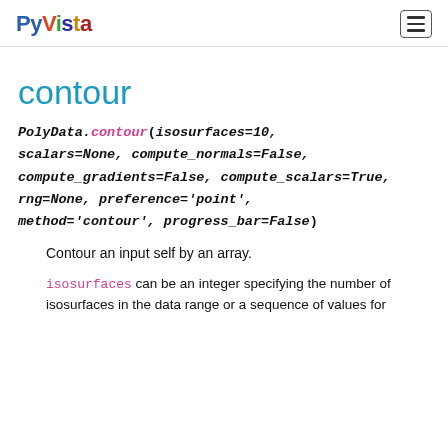PyVista [hamburger menu]
contour
PolyData.contour(isosurfaces=10, scalars=None, compute_normals=False, compute_gradients=False, compute_scalars=True, rng=None, preference='point', method='contour', progress_bar=False)
Contour an input self by an array.
isosurfaces can be an integer specifying the number of isosurfaces in the data range or a sequence of values for